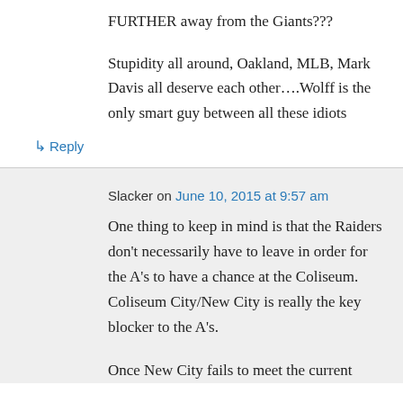FURTHER away from the Giants???
Stupidity all around, Oakland, MLB, Mark Davis all deserve each other….Wolff is the only smart guy between all these idiots
↳ Reply
Slacker on June 10, 2015 at 9:57 am
One thing to keep in mind is that the Raiders don't necessarily have to leave in order for the A's to have a chance at the Coliseum. Coliseum City/New City is really the key blocker to the A's.
Once New City fails to meet the current